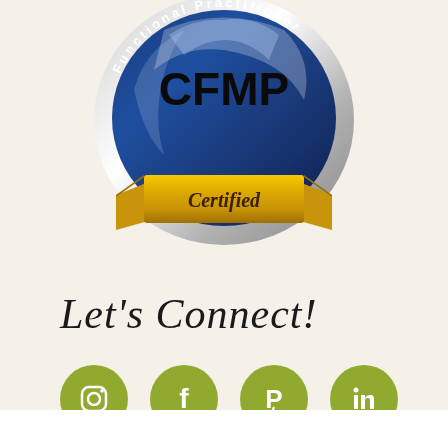[Figure (logo): CFMP Certified Functional Medicine Practitioner certification badge — circular blue and silver metallic badge with 'CFMP' text in center, surrounded by a circular band reading 'Functional Practitioner', with a gold ribbon banner at the bottom reading 'Certified']
Let's Connect!
[Figure (infographic): Four olive/yellow-green circular social media icon buttons in a row: Instagram, Facebook, Pinterest, LinkedIn]